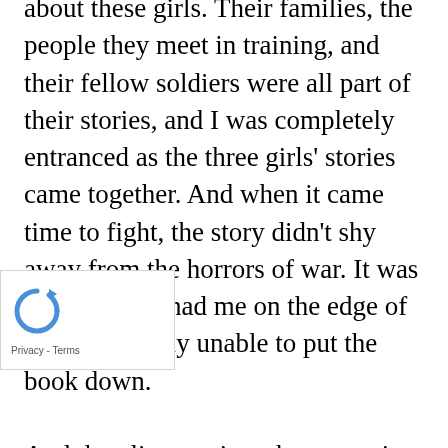about these girls. Their families, the people they meet in training, and their fellow soldiers were all part of their stories, and I was completely entranced as the three girls' stories came together. And when it came time to fight, the story didn't shy away from the horrors of war. It was gripping and had me on the edge of my seat, totally unable to put the book down.

And the glimpses into the mysterious narrator's identity made that a fascinating subplot, adding mystery to the book, which I loved.

Grant's characters encounter sexism, racism,
[Figure (other): reCAPTCHA badge with circular arrow icon and Privacy - Terms text]